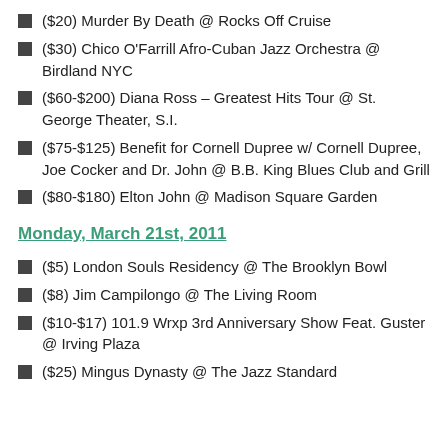($20) Murder By Death @ Rocks Off Cruise
($30) Chico O'Farrill Afro-Cuban Jazz Orchestra @ Birdland NYC
($60-$200) Diana Ross – Greatest Hits Tour @ St. George Theater, S.I.
($75-$125) Benefit for Cornell Dupree w/ Cornell Dupree, Joe Cocker and Dr. John @ B.B. King Blues Club and Grill
($80-$180) Elton John @ Madison Square Garden
Monday, March 21st, 2011
($5) London Souls Residency @ The Brooklyn Bowl
($8) Jim Campilongo @ The Living Room
($10-$17) 101.9 Wrxp 3rd Anniversary Show Feat. Guster @ Irving Plaza
($25) Mingus Dynasty @ The Jazz Standard